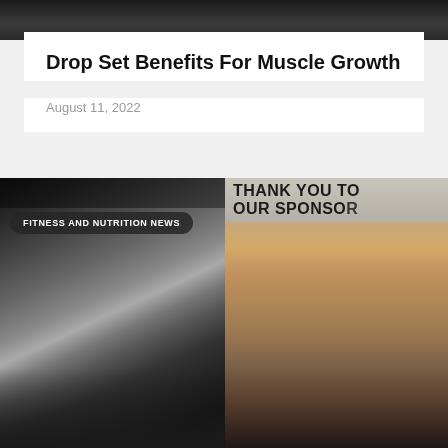[Figure (photo): Dark top photo strip showing partial image of muscular person]
Drop Set Benefits For Muscle Growth
August 11, 2022
[Figure (photo): Two-panel composite image. Left: black and white vintage photo of a bodybuilder posing in a gym. Right: color photo of an older man with sunglasses smiling at an outdoor event with a banner reading THANK YOU TO OUR SPONSORS. A badge overlay reads FITNESS AND NUTRITION NEWS.]